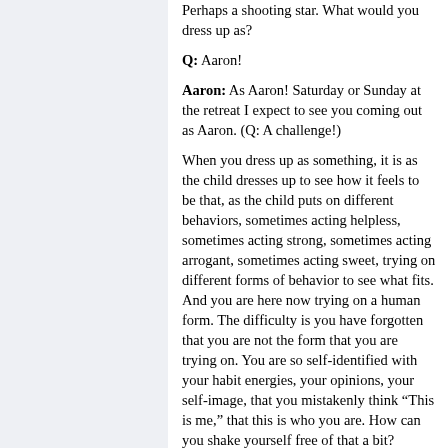Perhaps a shooting star. What would you dress up as?

Q: Aaron!

Aaron: As Aaron! Saturday or Sunday at the retreat I expect to see you coming out as Aaron. (Q: A challenge!)

When you dress up as something, it is as the child dresses up to see how it feels to be that, as the child puts on different behaviors, sometimes acting helpless, sometimes acting strong, sometimes acting arrogant, sometimes acting sweet, trying on different forms of behavior to see what fits. And you are here now trying on a human form. The difficulty is you have forgotten that you are not the form that you are trying on. You are so self-identified with your habit energies, your opinions, your self-image, that you mistakenly think “This is me,” that this is who you are. How can you shake yourself free of that a bit?